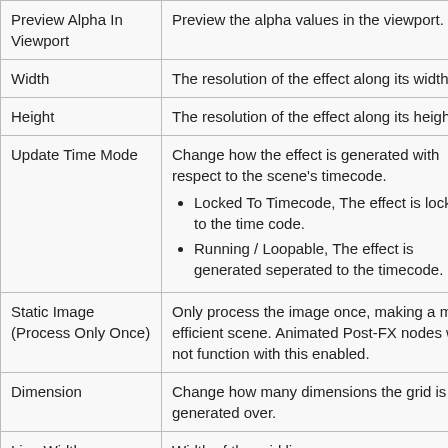| Property | Description |
| --- | --- |
| Preview Alpha In Viewport | Preview the alpha values in the viewport. |
| Width | The resolution of the effect along its width. |
| Height | The resolution of the effect along its height. |
| Update Time Mode | Change how the effect is generated with respect to the scene's timecode.
• Locked To Timecode, The effect is locked to the time code.
• Running / Loopable, The effect is generated seperated to the timecode. |
| Static Image (Process Only Once) | Only process the image once, making a more efficient scene. Animated Post-FX nodes will not function with this enabled. |
| Dimension | Change how many dimensions the grid is generated over. |
| Line Width | Width of the grid lines. |
| Contrast | Change the contrast between the lines and the background colour. |